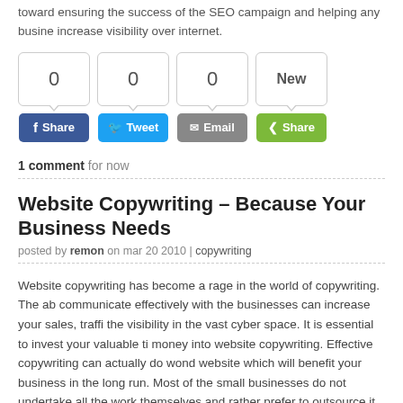toward ensuring the success of the SEO campaign and helping any business increase visibility over internet.
[Figure (other): Social share buttons: Facebook Share (0), Twitter Tweet (0), Email (0), Share (New)]
1 comment for now
Website Copywriting – Because Your Business Needs
posted by remon on mar 20 2010 | copywriting
Website copywriting has become a rage in the world of copywriting. The ability to communicate effectively with the businesses can increase your sales, traffic and the visibility in the vast cyber space. It is essential to invest your valuable time and money into website copywriting. Effective copywriting can actually do wonders for your website which will benefit your business in the long run. Most of the small businesses do not undertake all the work themselves and rather prefer to outsource it to professional firms. Same goes with website copywriting...